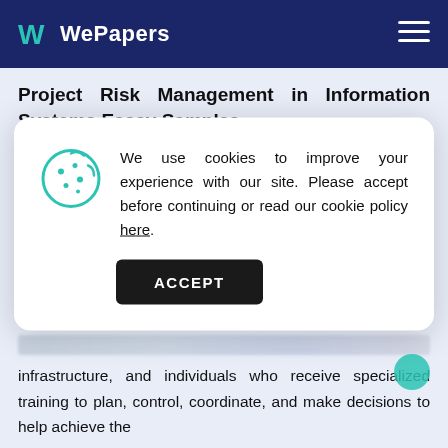WePapers
Project Risk Management in Information Systems Essay Samples
10 Pages
We use cookies to improve your experience with our site. Please accept before continuing or read our cookie policy here.
ACCEPT
infrastructure, and individuals who receive specialized training to plan, control, coordinate, and make decisions to help achieve the